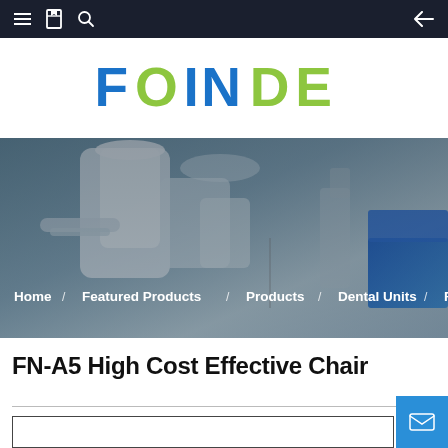Navigation bar with menu, bookmark, search icons and back arrow
[Figure (logo): FOINDE company logo in blue and green letters on white background]
[Figure (photo): Dental chair and equipment background image with breadcrumb navigation overlay showing: Home / Featured Products / Products / Dental Units / FN-]
FN-A5 High Cost Effective Chair